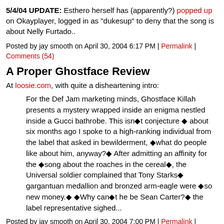5/4/04 UPDATE: Esthero herself has (apparently?) popped up on Okayplayer, logged in as "dukesup" to deny that the song is about Nelly Furtado..
Posted by jay smooth on April 30, 2004 6:17 PM | Permalink | Comments (54)
A Proper Ghostface Review
At loosie.com, with quite a disheartening intro:
For the Def Jam marketing minds, Ghostface Killah presents a mystery wrapped inside an enigma nestled inside a Gucci bathrobe. This isnÿt conjecture ÿ about six months ago I spoke to a high-ranking individual from the label that asked in bewilderment, ÿwhat do people like about him, anyway?ÿ After admitting an affinity for the ÿsong about the roaches in the cerealÿ, the Universal soldier complained that Tony Starksÿ gargantuan medallion and bronzed arm-eagle were ÿso new money.ÿ ÿWhy canÿt he be Sean Carter?ÿ the label representative sighed...
Posted by jay smooth on April 30, 2004 7:00 PM | Permalink | Comments (55)